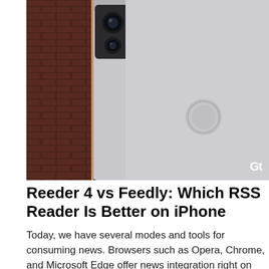[Figure (photo): Close-up of a silver/gray smartphone back with dual cameras and fingerprint sensor against a red brick wall background. GT logo in bottom right corner.]
Reeder 4 vs Feedly: Which RSS Reader Is Better on iPhone
Today, we have several modes and tools for consuming news. Browsers such as Opera, Chrome, and Microsoft Edge offer news integration right on their respective...
[Figure (photo): Outdoor nature photo showing trees with golden/yellow foliage against a dark sky, partially cropped. Has a close (X) button overlay.]